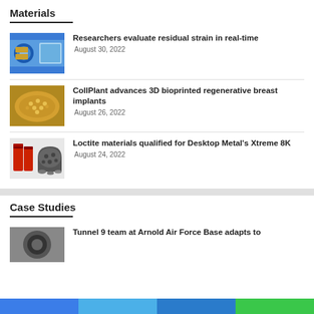Materials
Researchers evaluate residual strain in real-time
August 30, 2022
CollPlant advances 3D bioprinted regenerative breast implants
August 26, 2022
Loctite materials qualified for Desktop Metal's Xtreme 8K
August 24, 2022
Case Studies
Tunnel 9 team at Arnold Air Force Base adapts to